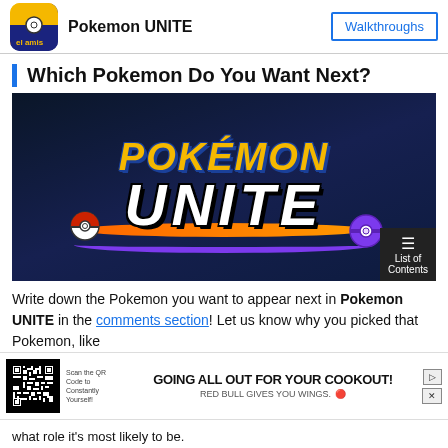Pokemon UNITE | Walkthroughs
Which Pokemon Do You Want Next?
[Figure (screenshot): Pokemon UNITE logo on dark blue background with orange swoosh and Pokeball decorations]
Write down the Pokemon you want to appear next in Pokemon UNITE in the comments section! Let us know why you picked that Pokemon, like what role it's most likely to be.